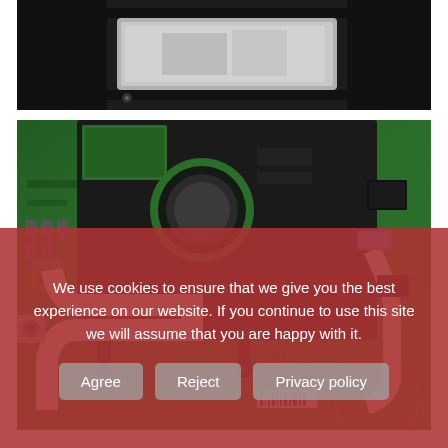[Figure (photo): Close-up photo of the interior of an electronic device showing red wires, a metallic silver component/bracket, and black housing on a dark background.]
[Figure (photo): Close-up photo of a black metal bracket/frame with circular and rectangular cutouts mounted on top of a green PCB circuit board with various components, flex cables, and connectors visible.]
We use cookies to ensure that we give you the best experience on our website. If you continue to use this site we will assume that you are happy with it.